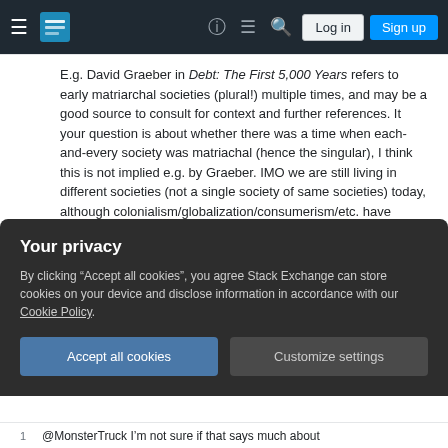Stack Exchange navigation bar with hamburger menu, logo, help, chat, search icons, Log in and Sign up buttons
E.g. David Graeber in Debt: The First 5,000 Years refers to early matriarchal societies (plural!) multiple times, and may be a good source to consult for context and further references. It your question is about whether there was a time when each-and-every society was matriachal (hence the singular), I think this is not implied e.g. by Graeber. IMO we are still living in different societies (not a single society of same societies) today, although colonialism/globalization/consumerism/etc. have reduced differences. – Drux Jan 23, 2013 at 16:45
I supposed there were the Amazons. But how fictitious
Your privacy
By clicking "Accept all cookies", you agree Stack Exchange can store cookies on your device and disclose information in accordance with our Cookie Policy.
Accept all cookies  Customize settings
1  @MonsterTruck I'm not sure if that says much about